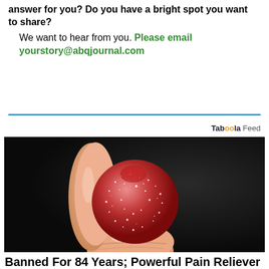Do you have a question you want someone to try to answer for you? Do you have a bright spot you want to share?
    We want to hear from you. Please email yourstory@abqjournal.com
[Figure (photo): A hand holding a red sugar-coated gummy candy against a dark background.]
Banned For 84 Years; Powerful Pain Reliever Ingredient Missing...